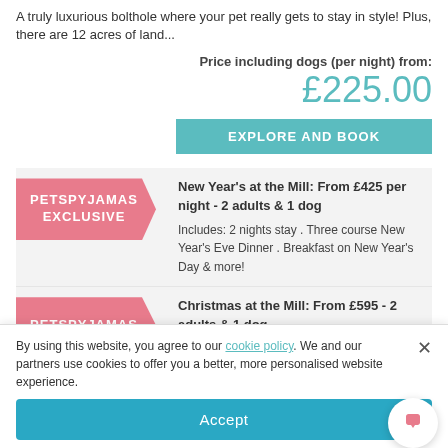A truly luxurious bolthole where your pet really gets to stay in style! Plus, there are 12 acres of land...
Price including dogs (per night) from:
£225.00
EXPLORE AND BOOK
PETSPYJAMAS EXCLUSIVE
New Year's at the Mill: From £425 per night - 2 adults & 1 dog
Includes: 2 nights stay . Three course New Year's Eve Dinner . Breakfast on New Year's Day & more!
PETSPYJAMAS
Christmas at the Mill: From £595 - 2 adults & 1 dog
By using this website, you agree to our cookie policy. We and our partners use cookies to offer you a better, more personalised website experience.
Accept